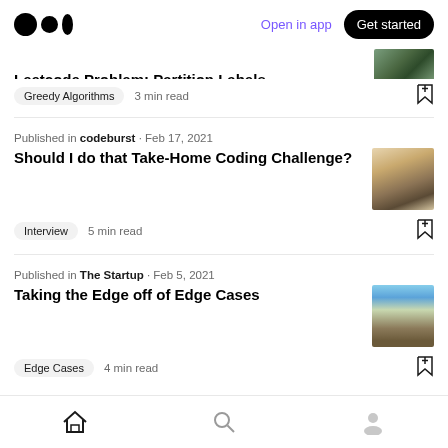Medium app header with logo, Open in app, Get started
Leetcode Problem: Partition Labels
Greedy Algorithms · 3 min read
Published in codeburst · Feb 17, 2021
Should I do that Take-Home Coding Challenge?
Interview · 5 min read
Published in The Startup · Feb 5, 2021
Taking the Edge off of Edge Cases
Edge Cases · 4 min read
Home, Search, Profile navigation